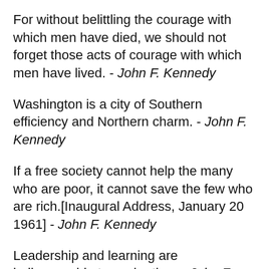For without belittling the courage with which men have died, we should not forget those acts of courage with which men have lived. - John F. Kennedy
Washington is a city of Southern efficiency and Northern charm. - John F. Kennedy
If a free society cannot help the many who are poor, it cannot save the few who are rich.[Inaugural Address, January 20 1961] - John F. Kennedy
Leadership and learning are indispensable to each other. - John F. Kennedy
There will always be dissident voices heard...